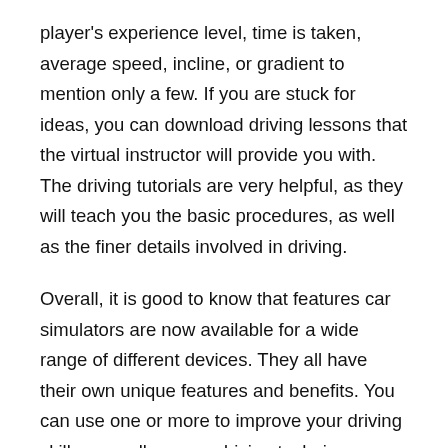player's experience level, time is taken, average speed, incline, or gradient to mention only a few. If you are stuck for ideas, you can download driving lessons that the virtual instructor will provide you with. The driving tutorials are very helpful, as they will teach you the basic procedures, as well as the finer details involved in driving.
Overall, it is good to know that features car simulators are now available for a wide range of different devices. They all have their own unique features and benefits. You can use one or more to improve your driving skills, as well as your driving techniques. Whether you are a novice driver or an experienced driver, there are several features of car simulator games that will help you become a better driver.
Car Simulator 2 Mod Apk Cheat Features